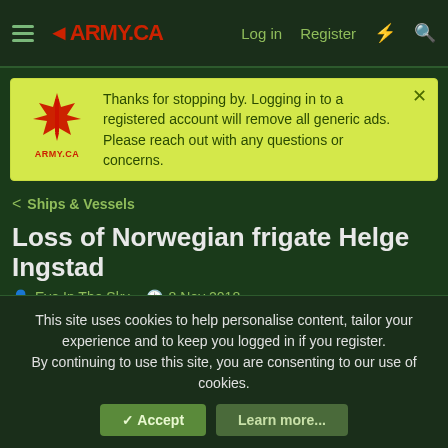ARMY.CA — Log in | Register
Thanks for stopping by. Logging in to a registered account will remove all generic ads. Please reach out with any questions or concerns.
< Ships & Vessels
Loss of Norwegian frigate Helge Ingstad
Eye In The Sky · 8 Nov 2018
Loachman
Former Army Pilot in Drag  Staff member  Directing Staff
This site uses cookies to help personalise content, tailor your experience and to keep you logged in if you register.
By continuing to use this site, you are consenting to our use of cookies.
✓ Accept    Learn more...